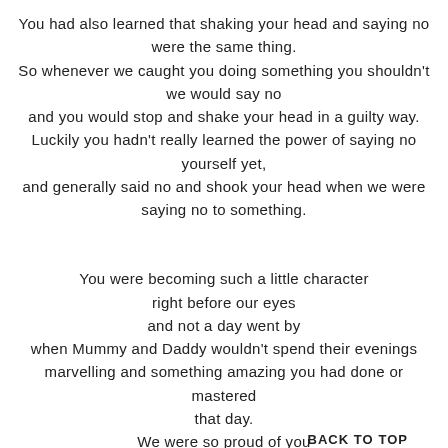You had also learned that shaking your head and saying no were the same thing. So whenever we caught you doing something you shouldn't we would say no and you would stop and shake your head in a guilty way. Luckily you hadn't really learned the power of saying no yourself yet, and generally said no and shook your head when we were saying no to something.
You were becoming such a little character right before our eyes and not a day went by when Mummy and Daddy wouldn't spend their evenings marvelling and something amazing you had done or mastered that day. We were so proud of you and felt lucky every single day
BACK TO TOP